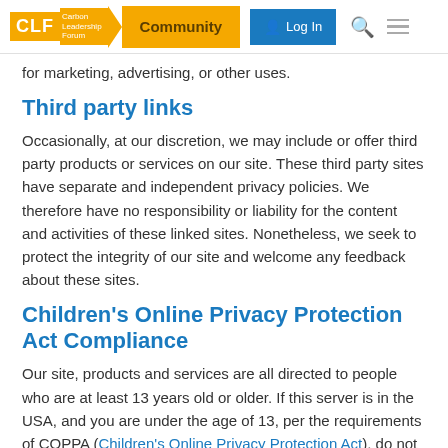[Figure (screenshot): Carbon Leadership Forum Community website header with CLF logo, Community tab, Log In button, search and menu icons]
for marketing, advertising, or other uses.
Third party links
Occasionally, at our discretion, we may include or offer third party products or services on our site. These third party sites have separate and independent privacy policies. We therefore have no responsibility or liability for the content and activities of these linked sites. Nonetheless, we seek to protect the integrity of our site and welcome any feedback about these sites.
Children's Online Privacy Protection Act Compliance
Our site, products and services are all directed to people who are at least 13 years old or older. If this server is in the USA, and you are under the age of 13, per the requirements of COPPA (Children's Online Privacy Protection Act), do not use